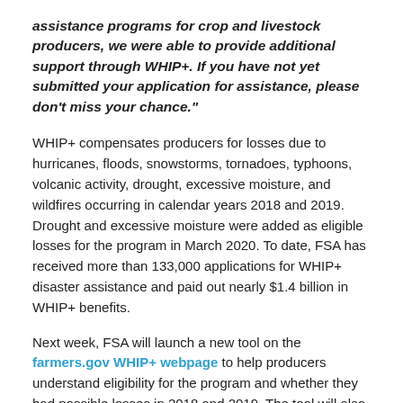assistance programs for crop and livestock producers, we were able to provide additional support through WHIP+. If you have not yet submitted your application for assistance, please don't miss your chance."
WHIP+ compensates producers for losses due to hurricanes, floods, snowstorms, tornadoes, typhoons, volcanic activity, drought, excessive moisture, and wildfires occurring in calendar years 2018 and 2019. Drought and excessive moisture were added as eligible losses for the program in March 2020. To date, FSA has received more than 133,000 applications for WHIP+ disaster assistance and paid out nearly $1.4 billion in WHIP+ benefits.
Next week, FSA will launch a new tool on the farmers.gov WHIP+ webpage to help producers understand eligibility for the program and whether they had possible losses in 2018 and 2019. The tool will also